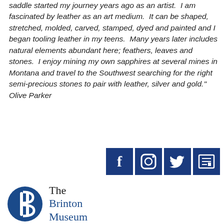saddle started my journey years ago as an artist.  I am fascinated by leather as an art medium.  It can be shaped, stretched, molded, carved, stamped, dyed and painted and I began tooling leather in my teens.  Many years later includes natural elements abundant here; feathers, leaves and stones.  I enjoy mining my own sapphires at several mines in Montana and travel to the Southwest searching for the right semi-precious stones to pair with leather, silver and gold." Olive Parker
[Figure (other): Social media icons: Facebook, Instagram, Twitter, and a news/blog icon — all on dark navy blue square backgrounds]
[Figure (logo): The Brinton Museum logo — circular blue emblem with stylized 'B' letterform and text 'The Brinton Museum' beside it]